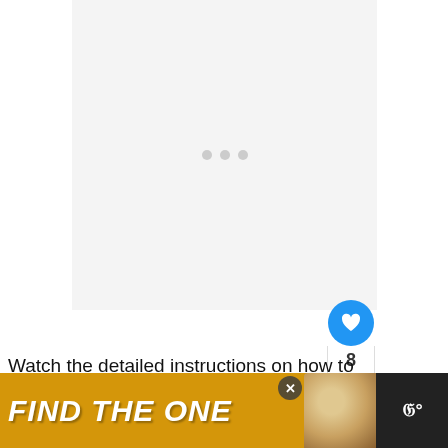[Figure (other): Video player loading placeholder with three grey dots centered on a light grey background]
Watch the detailed instructions on how to brush seal kit in this video:
[Figure (other): UI element: blue circular heart/like button with count 8, and a share button below. A 'What's Next' panel shows a thumbnail of a garage door with text 'How To Insulate A...']
[Figure (other): Advertisement banner: 'FIND THE ONE' in large italic white text on yellow/gold background with a dog image and a dark right panel]